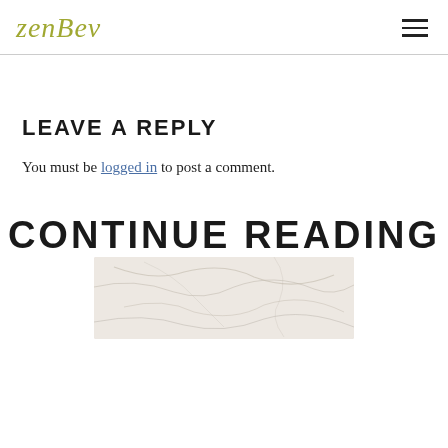zenbev
LEAVE A REPLY
You must be logged in to post a comment.
CONTINUE READING
[Figure (photo): Marble surface photo, white with grey veining]